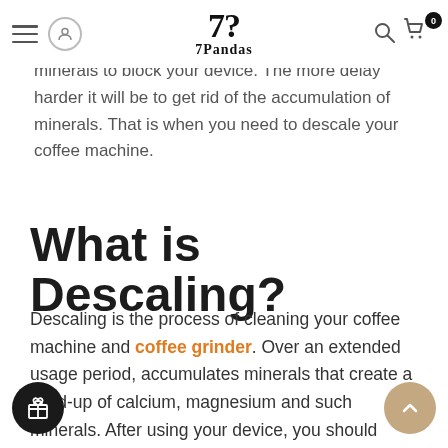7Pandas - website header with logo, navigation icons, search and cart
Commonly, we use filtered water and mineral water to make coffee, but they contain enough minerals to block your device. The more delay harder it will be to get rid of the accumulation of minerals. That is when you need to descale your coffee machine.
What is Descaling?
Descaling is the process of cleaning your coffee machine and coffee grinder. Over an extended usage period, accumulates minerals that create a build-up of calcium, magnesium and such minerals. After using your device, you should descale your coffee machine to keep it functioning correctly. This process requires a chemical to descale, which is also called descaler.